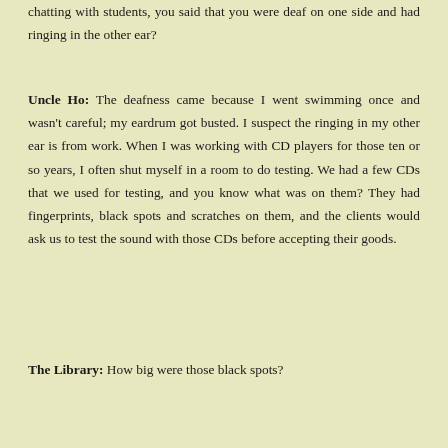chatting with students, you said that you were deaf on one side and had ringing in the other ear?
Uncle Ho: The deafness came because I went swimming once and wasn't careful; my eardrum got busted. I suspect the ringing in my other ear is from work. When I was working with CD players for those ten or so years, I often shut myself in a room to do testing. We had a few CDs that we used for testing, and you know what was on them? They had fingerprints, black spots and scratches on them, and the clients would ask us to test the sound with those CDs before accepting their goods.
The Library: How big were those black spots?